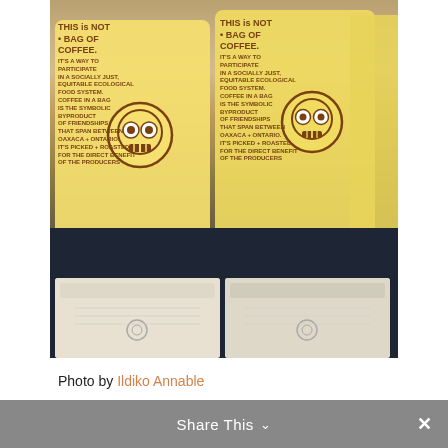[Figure (photo): Photograph of coffee bags with yellow Day of the Dead skull design packaging labeled 'THIS is NOT A BAG OF COFFEE. IT'S A WAY TO PARTICIPATE IN A SOCIALLY JUST, EQUITABLE ECOLOGICAL FOOD SYSTEM...' displayed on a dark navy tablecloth. Multiple bags visible including full upright bags and smaller folded packages at front.]
Photo by Ildiko Annable
Share This ✓  ✕